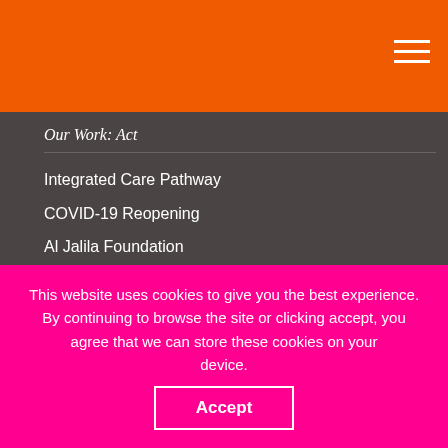Our Work: Act
Integrated Care Pathway
COVID-19 Reopening
Al Jalila Foundation
Practical guides
Other Links
Home
Contact
Media Newsroom
Latest News
Legal disclaimer
Cybersecurity, Privacy and Data Protection
This website uses cookies to give you the best experience. By continuing to browse the site or clicking accept, you agree that we can store these cookies on your device.
Accept